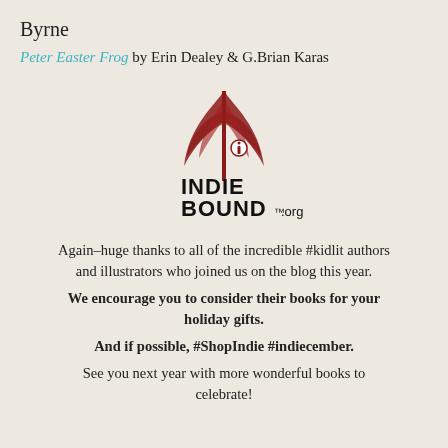Byrne
Peter Easter Frog by Erin Dealey & G.Brian Karas
[Figure (logo): IndieBound.org logo with red stylized plant/wheat graphic and bold text reading INDIE BOUND.org]
Again–huge thanks to all of the incredible #kidlit authors and illustrators who joined us on the blog this year.
We encourage you to consider their books for your holiday gifts.
And if possible, #ShopIndie #indiecember.
See you next year with more wonderful books to celebrate!